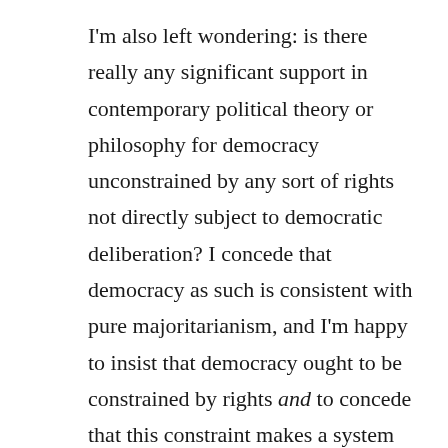I'm also left wondering: is there really any significant support in contemporary political theory or philosophy for democracy unconstrained by any sort of rights not directly subject to democratic deliberation? I concede that democracy as such is consistent with pure majoritarianism, and I'm happy to insist that democracy ought to be constrained by rights and to concede that this constraint makes a system less democratic than a purely majoritarian one. But does that sort of view really have many prominent defenders? If not, then Brennan's argument in the post